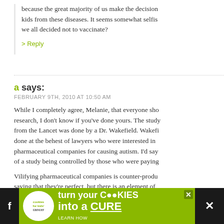because the great majority of us make the decision to protect our kids from these diseases. It seems somewhat selfish if we all decided not to vaccinate?
> Reply
a says:
FEBRUARY 9TH, 2010 AT 10:50 AM
While I completely agree, Melanie, that everyone should do their research, I don't know if you've done yours. The study published from the Lancet was done by a Dr. Wakefield. Wakefield's study was done at the behest of lawyers who were interested in suing pharmaceutical companies for causing autism. I'd say that's an example of a study being controlled by those who were paying for it.
Vilifying pharmaceutical companies is counter-productive. I'm not saying that they're perfect, but there is an element of individual body chemistry. You can't possibly predict how every person will react to a drug. You also cannot get a sample of every type of person in a trial. I worked for a pharmaceutical company that rec...
[Figure (other): Advertisement banner for 'cookies for kids cancer' - green background with white text saying 'turn your COOKIES into a CURE LEARN HOW' with cookie and cancer cure imagery, social media icons on sides, and close button]